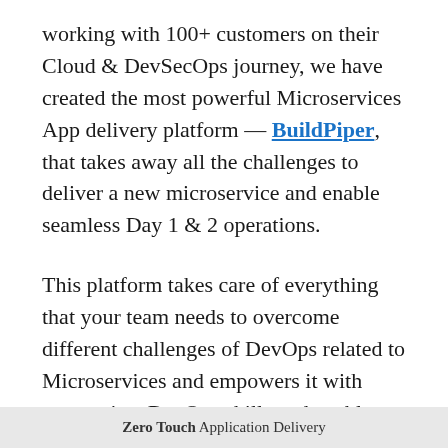working with 100+ customers on their Cloud & DevSecOps journey, we have created the most powerful Microservices App delivery platform — BuildPiper, that takes away all the challenges to deliver a new microservice and enable seamless Day 1 & 2 operations.
This platform takes care of everything that your team needs to overcome different challenges of DevOps related to Microservices and empowers it with appropriate DevOps skills and enables seamless delivery of dockerized code at reduced costs with a 10X faster time to market
Zero Touch Application Delivery